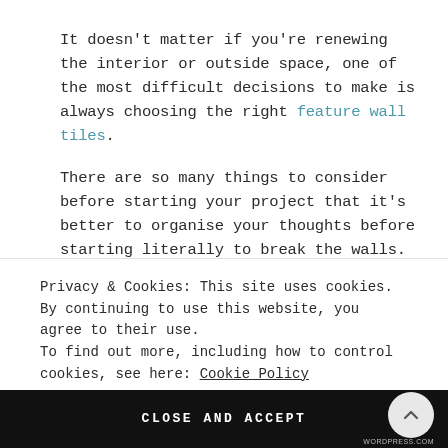It doesn't matter if you're renewing the interior or outside space, one of the most difficult decisions to make is always choosing the right feature wall tiles.
There are so many things to consider before starting your project that it's better to organise your thoughts before starting literally to break the walls.
[Figure (photo): Partial view of decorative geometric patterned wall tiles in dark tones]
Privacy & Cookies: This site uses cookies. By continuing to use this website, you agree to their use.
To find out more, including how to control cookies, see here: Cookie Policy
CLOSE AND ACCEPT